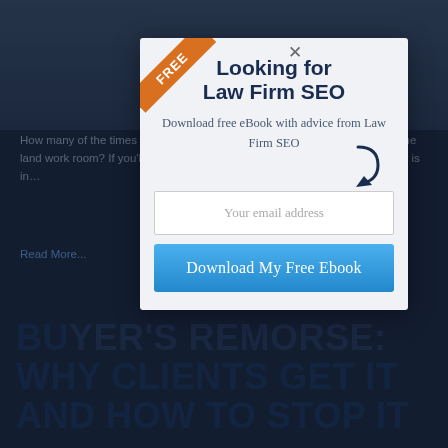[Figure (screenshot): Background webpage showing dark navy blue legal website with partially visible article text and large bold heading 'BUYER'S REMORSE: WHY CLIENTS GET IT AND HOW TO STOP IT' at bottom]
[Figure (screenshot): Modal popup overlay with FREE ribbon corner badge, close X button, headline 'Looking for Law Firm SEO', subtext 'Download free eBook with advice from Law Firm SEO', email input field, and 'Download My Free Ebook' blue button]